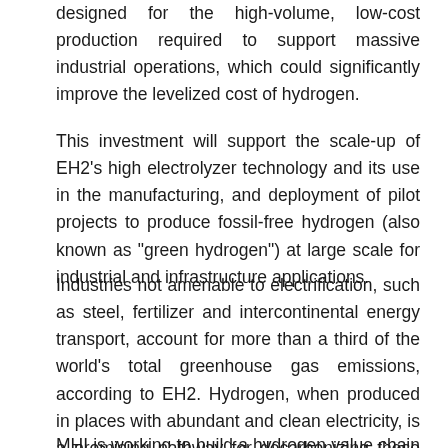designed for the high-volume, low-cost production required to support massive industrial operations, which could significantly improve the levelized cost of hydrogen.
This investment will support the scale-up of EH2's high electrolyzer technology and its use in the manufacturing, and deployment of pilot projects to produce fossil-free hydrogen (also known as "green hydrogen") at large scale for industrial and infrastructure applications.
Industries not amenable to electrification, such as steel, fertilizer and intercontinental energy transport, account for more than a third of the world's total greenhouse gas emissions, according to EH2. Hydrogen, when produced in places with abundant and clean electricity, is a promising pathway for decarbonizing these industries.
MHI is working to build a hydrogen value chain through its